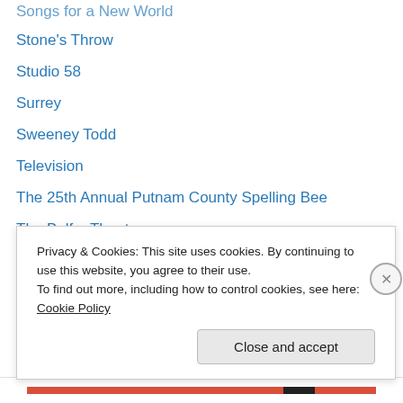Songs for a New World
Stone's Throw
Studio 58
Surrey
Sweeney Todd
Television
The 25th Annual Putnam County Spelling Bee
The Belfry Theatre
The Fantasticks
The Last Five Years
The Lion King
The Park
The Sound of Music
The Supermusical
Privacy & Cookies: This site uses cookies. By continuing to use this website, you agree to their use.
To find out more, including how to control cookies, see here: Cookie Policy
Close and accept